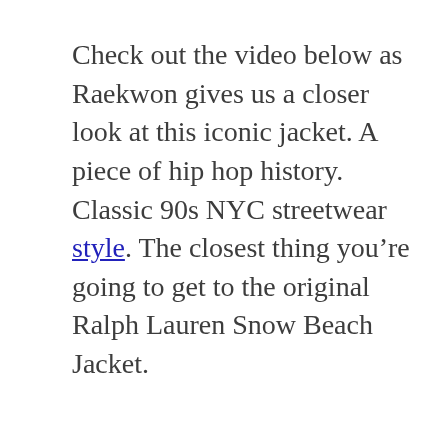Check out the video below as Raekwon gives us a closer look at this iconic jacket. A piece of hip hop history. Classic 90s NYC streetwear style. The closest thing you're going to get to the original Ralph Lauren Snow Beach Jacket.